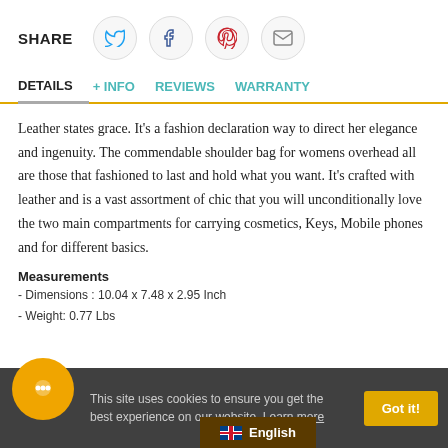SHARE
DETAILS | + INFO | REVIEWS | WARRANTY
Leather states grace. It's a fashion declaration way to direct her elegance and ingenuity. The commendable shoulder bag for womens overhead all are those that fashioned to last and hold what you want. It's crafted with leather and is a vast assortment of chic that you will unconditionally love the two main compartments for carrying cosmetics, Keys, Mobile phones and for different basics.
Measurements
- Dimensions : 10.04 x 7.48 x 2.95 Inch
- Weight: 0.77 Lbs
This site uses cookies to ensure you get the best experience on our website. Learn more